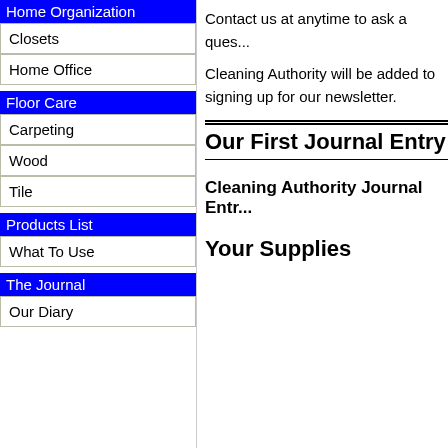Home Organization
Closets
Home Office
Floor Care
Carpeting
Wood
Tile
Products List
What To Use
The Journal
Our Diary
Contact us at anytime to ask a ques...
Cleaning Authority will be added to signing up for our newsletter.
Our First Journal Entry
Cleaning Authority Journal Entr...
Your Supplies